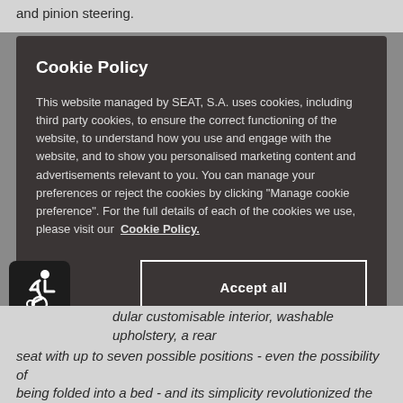and pinion steering.
Cookie Policy
This website managed by SEAT, S.A. uses cookies, including third party cookies, to ensure the correct functioning of the website, to understand how you use and engage with the website, and to show you personalised marketing content and advertisements relevant to you. You can manage your preferences or reject the cookies by clicking "Manage cookie preference". For the full details of each of the cookies we use, please visit our Cookie Policy.
Accept all
Configure or reject optional cookies
[Figure (illustration): Accessibility icon: white figure in wheelchair on dark rounded square background]
dular customisable interior, washable upholstery, a rear seat with up to seven possible positions - even the possibility of being folded into a bed - and its simplicity revolutionized the